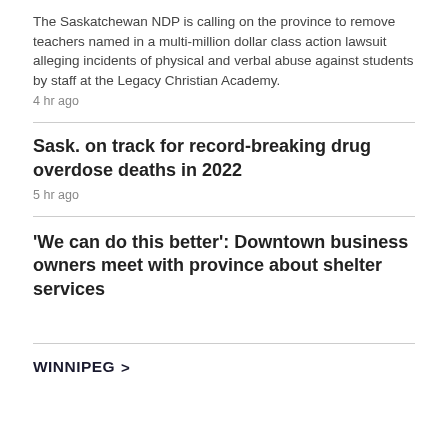The Saskatchewan NDP is calling on the province to remove teachers named in a multi-million dollar class action lawsuit alleging incidents of physical and verbal abuse against students by staff at the Legacy Christian Academy.
4 hr ago
Sask. on track for record-breaking drug overdose deaths in 2022
5 hr ago
'We can do this better': Downtown business owners meet with province about shelter services
WINNIPEG >